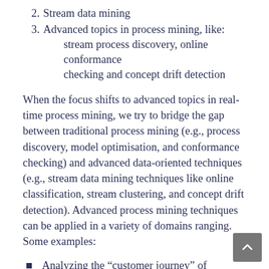2. Stream data mining
3. Advanced topics in process mining, like: stream process discovery, online conformance checking and concept drift detection
When the focus shifts to advanced topics in real-time process mining, we try to bridge the gap between traditional process mining (e.g., process discovery, model optimisation, and conformance checking) and advanced data-oriented techniques (e.g., stream data mining techniques like online classification, stream clustering, and concept drift detection). Advanced process mining techniques can be applied in a variety of domains ranging. Some examples:
Analyzing the “customer journey” of customers that have purchased a product and are using related services. How to seduce customers to purchase more services and